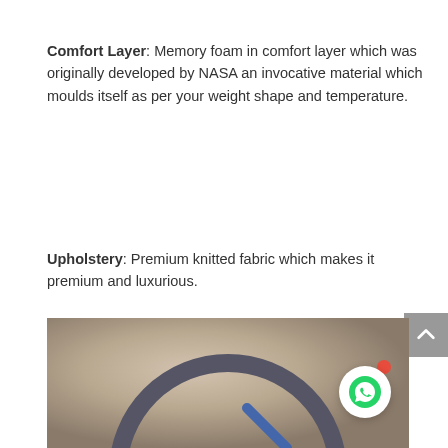Comfort Layer: Memory foam in comfort layer which was originally developed by NASA an invocative material which moulds itself as per your weight shape and temperature.
Upholstery: Premium knitted fabric which makes it premium and luxurious.
[Figure (photo): Product image showing a mattress or bedding item with a circular logo/symbol on a beige/tan background. A WhatsApp contact button with a red notification dot is overlaid in the bottom right corner.]